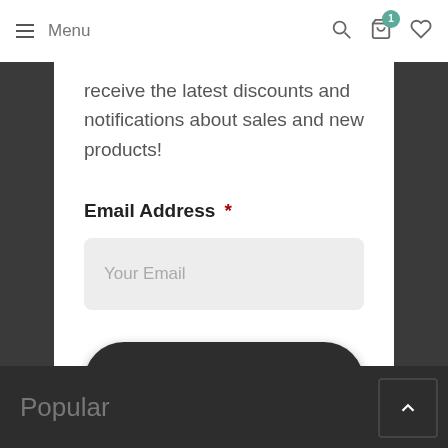Menu
receive the latest discounts and notifications about sales and new products!
Email Address *
Your Email
GET MY DISCOUNT
Popular